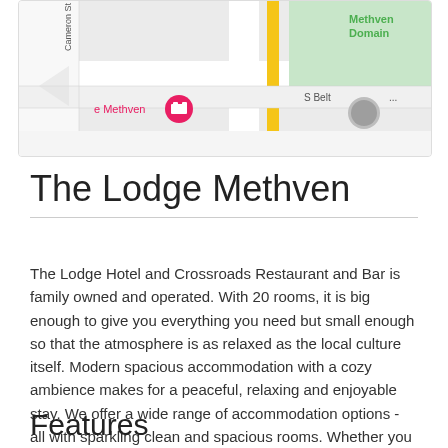[Figure (map): Street map showing Methven area with roads including Cameron St and S Belt, green Methven Domain area, pink hotel marker labeled 'e Methven', and a circular building icon]
The Lodge Methven
The Lodge Hotel and Crossroads Restaurant and Bar is family owned and operated. With 20 rooms, it is big enough to give you everything you need but small enough so that the atmosphere is as relaxed as the local culture itself. Modern spacious accommodation with a cozy ambience makes for a peaceful, relaxing and enjoyable stay. We offer a wide range of accommodation options - all with sparkling clean and spacious rooms. Whether you are visiting us for business, a romantic escape, a family treat or for the great skiing, indulge in the atmosphere and genuine South Island hospitality.
Features